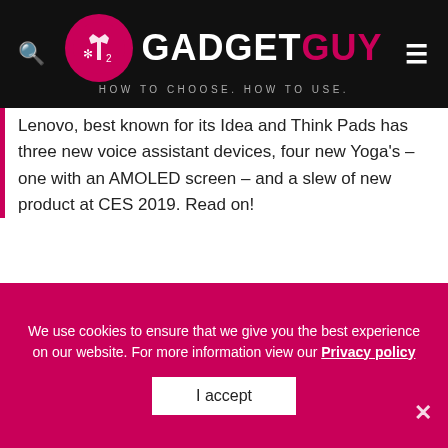GADGETGUY HOW TO CHOOSE. HOW TO USE.
Lenovo, best known for its Idea and Think Pads has three new voice assistant devices, four new Yoga's – one with an AMOLED screen – and a slew of new product at CES 2019. Read on!
A clock version of Lenovo's 10" Google Assistant speaker.
It is like Google's Home Hub without a camera for
We use cookies to ensure that we give you the best experience on our website. For more information view our Privacy policy
I accept